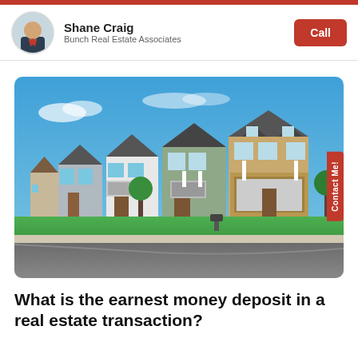Shane Craig
Bunch Real Estate Associates
[Figure (photo): Suburban neighborhood street with a row of modern two-story homes under a bright blue sky]
What is the earnest money deposit in a real estate transaction?